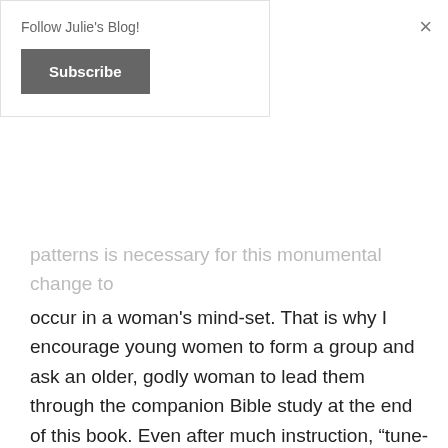Follow Julie's Blog!
Subscribe
patterns is necessary for this monumental change to occur in a woman’s mind-set. That is why I encourage young women to form a group and ask an older, godly woman to lead them through the companion Bible study at the end of this book. Even after much instruction, “tune-ups” are constantly necessary as women are prone to wander back to contentiousness (Genesis 3:16).
Granted, this is a lot of work. Wives must persevere in giving even in the face of her husband not reciprocating. This is the man you were given to love, and it is your calling to “bring him good, not harm, all